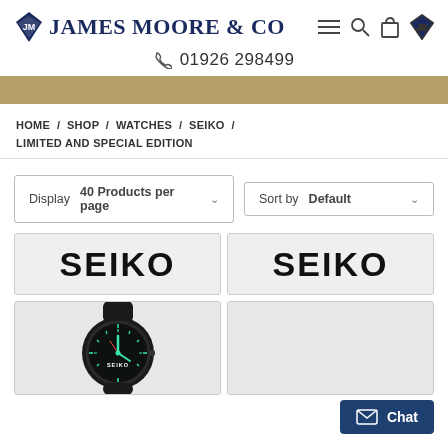James Moore & Co — 01926 298499
HOME / SHOP / WATCHES / SEIKO / LIMITED AND SPECIAL EDITION
Display 40 Products per page
Sort by Default
[Figure (logo): SEIKO logo on grey product card background]
[Figure (logo): SEIKO logo on grey product card background]
[Figure (photo): Seiko diver watch with black case, black rubber strap, and teal/green dial and bezel markings]
[Figure (photo): Seiko product card image area, partially visible]
Chat